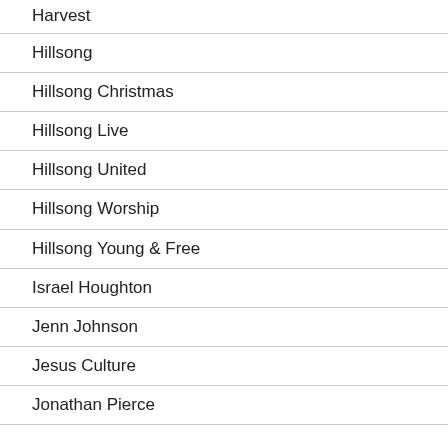Harvest
Hillsong
Hillsong Christmas
Hillsong Live
Hillsong United
Hillsong Worship
Hillsong Young & Free
Israel Houghton
Jenn Johnson
Jesus Culture
Jonathan Pierce